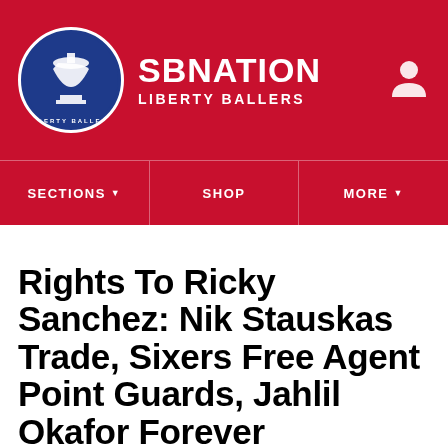SB NATION LIBERTY BALLERS
Rights To Ricky Sanchez: Nik Stauskas Trade, Sixers Free Agent Point Guards, Jahlil Okafor Forever
In our first podcast since Draft Night, we talk at length about the Kings-Sixers trade and what the next few years look like.
By Michael Levin | Jul 3, 2015, 1:50pm EDT